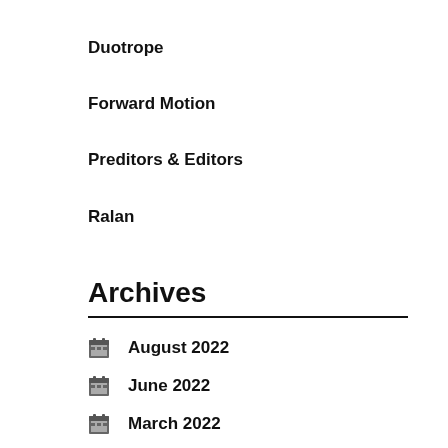Duotrope
Forward Motion
Preditors & Editors
Ralan
Archives
August 2022
June 2022
March 2022
August 2021